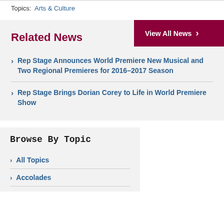Topics: Arts & Culture
Related News
Rep Stage Announces World Premiere New Musical and Two Regional Premieres for 2016–2017 Season
Rep Stage Brings Dorian Corey to Life in World Premiere Show
Browse By Topic
All Topics
Accolades